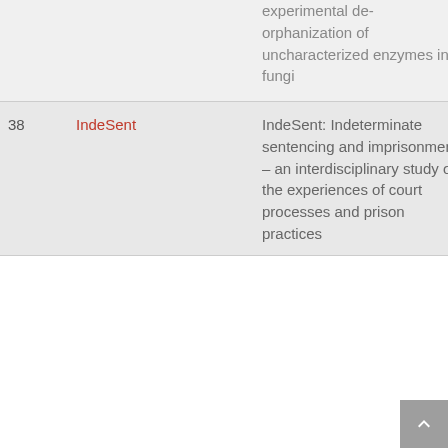| # | Name | Title | Year |
| --- | --- | --- | --- |
|  |  | experimental de-orphanization of uncharacterized enzymes in fungi |  |
| 38 | IndeSent | IndeSent: Indeterminate sentencing and imprisonment – an interdisciplinary study of the experiences of court processes and prison practices | 20 |